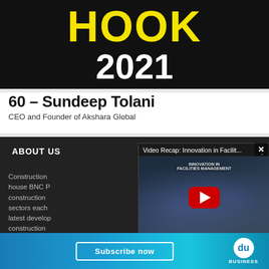[Figure (photo): Dark banner with yellow 'HOOK' text and white '2021' text on black background]
60 – Sundeep Tolani
CEO and Founder of Akshara Global
ABOUT US
Construction house BNC P construction sectors each latest develop construction
MORE
[Figure (screenshot): Video popup showing 'Video Recap: Innovation in Facilit...' YouTube video thumbnail with a crowd at a facility management awards event, with close button X]
[Figure (illustration): Subscribe now banner with 'du BUSINESS' logo on blue gradient background]